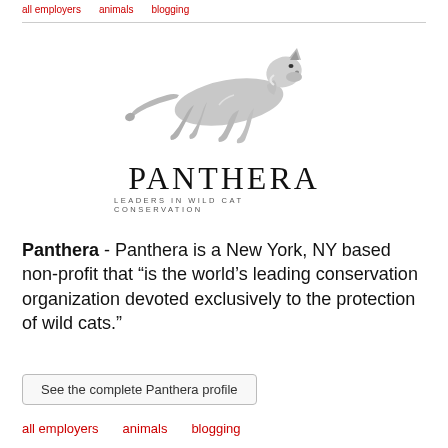all employers   animals   blogging
[Figure (logo): Panthera logo with silver running cheetah/big cat above the text PANTHERA and tagline LEADERS IN WILD CAT CONSERVATION]
Panthera - Panthera is a New York, NY based non-profit that “is the world’s leading conservation organization devoted exclusively to the protection of wild cats.”
See the complete Panthera profile
all employers   animals   blogging